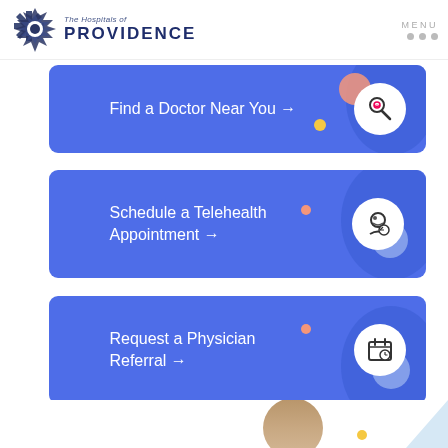[Figure (logo): The Hospitals of Providence logo with cross/compass rose icon and text]
Find a Doctor Near You →
Schedule a Telehealth Appointment →
Request a Physician Referral →
[Figure (photo): Partial photo of a person at bottom of page]